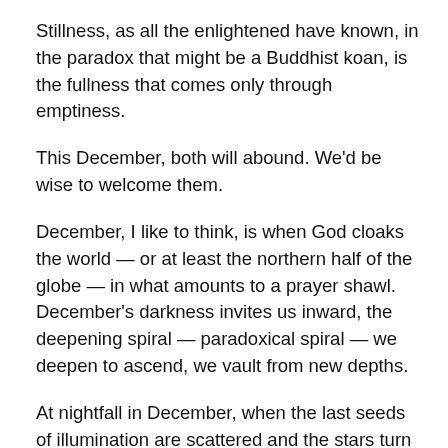Stillness, as all the enlightened have known, in the paradox that might be a Buddhist koan, is the fullness that comes only through emptiness.
This December, both will abound. We'd be wise to welcome them.
December, I like to think, is when God cloaks the world — or at least the northern half of the globe — in what amounts to a prayer shawl. December's darkness invites us inward, the deepening spiral — paradoxical spiral — we deepen to ascend, we vault from new depths.
At nightfall in December, when the last seeds of illumination are scattered and the stars turn on — all at once as if the caretakers of wonder have flown through the heavens sparking the wicks — we, too, huddled in our